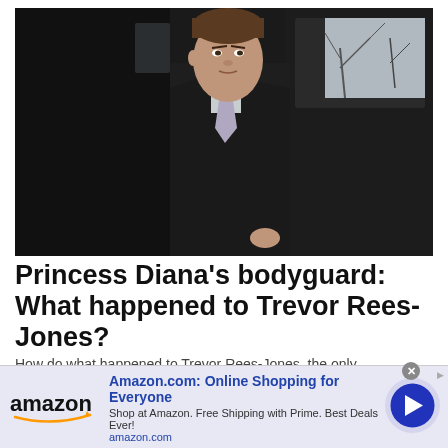[Figure (photo): A man in a dark suit and light purple tie steps out of or stands beside a black vehicle, photographed outdoors with bare winter trees visible in the background.]
Princess Diana's bodyguard: What happened to Trevor Rees-Jones?
How do what happened to Trevor Rees-Jones, the only...
[Figure (other): Amazon advertisement banner showing Amazon logo, headline 'Amazon.com: Online Shopping for Everyone', subtext 'Shop at Amazon. Free Shipping with Prime. Best Deals Ever!', amazon.com URL, and a blue arrow button circle.]